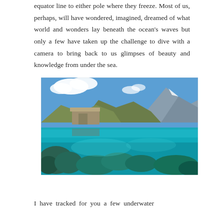equator line to either pole where they freeze. Most of us, perhaps, will have wondered, imagined, dreamed of what world and wonders lay beneath the ocean's waves but only a few have taken up the challenge to dive with a camera to bring back to us glimpses of beauty and knowledge from under the sea.
[Figure (photo): Split underwater/above-water photograph showing a mountain lake scene above the waterline with rocky hills, blue sky and clouds, and ancient stone ruins, and below the waterline showing turquoise clear water with rocks and coral-like formations.]
I have tracked for you a few underwater